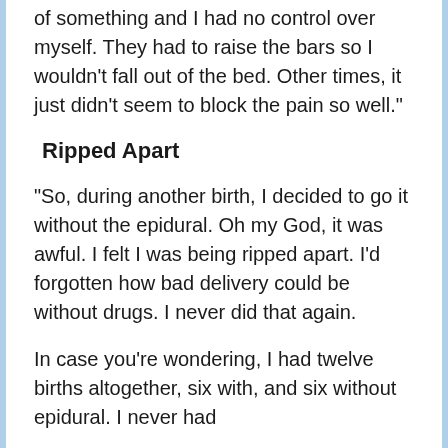of something and I had no control over myself. They had to raise the bars so I wouldn't fall out of the bed. Other times, it just didn't seem to block the pain so well."
Ripped Apart
"So, during another birth, I decided to go it without the epidural. Oh my God, it was awful. I felt I was being ripped apart. I'd forgotten how bad delivery could be without drugs. I never did that again.
In case you're wondering, I had twelve births altogether, six with, and six without epidural. I never had